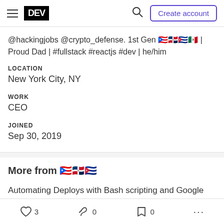DEV | Create account
@hackingjobs @crypto_defense. 1st Gen 🇵🇷🇩🇴🇨🇺🇲🇽 | Proud Dad | #fullstack #reactjs #dev | he/him
LOCATION
New York City, NY
WORK
CEO
JOINED
Sep 30, 2019
More from 🇵🇷🇩🇴🇨🇺
Automating Deploys with Bash scripting and Google Cloud
3   0   0   ...